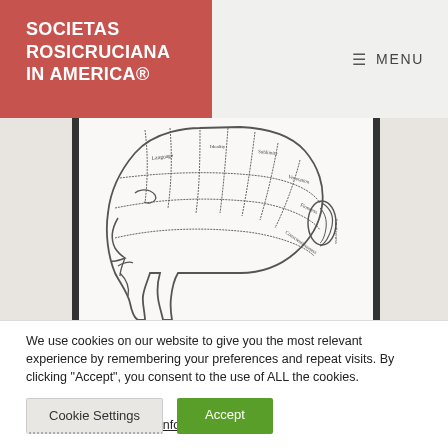SOCIETAS ROSICRUCIANA IN AMERICA®
≡ MENU
[Figure (illustration): A phrenology diagram showing a human head in profile facing left, with labeled regions of the brain/skull. An ear is visible in the right portion.]
We use cookies on our website to give you the most relevant experience by remembering your preferences and repeat visits. By clicking "Accept", you consent to the use of ALL the cookies.
Do not sell my personal information.
Cookie Settings
Accept